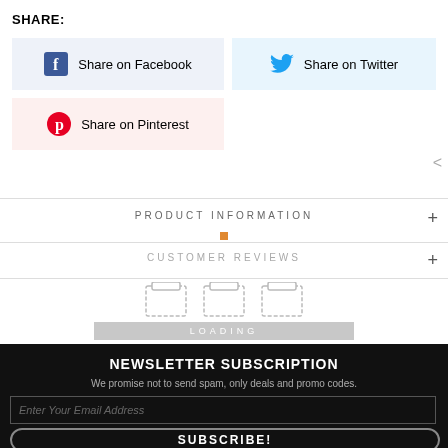SHARE:
[Figure (screenshot): Share on Facebook button with Facebook logo icon on light blue background]
[Figure (screenshot): Share on Twitter button with Twitter bird icon on light blue background]
[Figure (screenshot): Share on Pinterest button with Pinterest logo icon on light pink background]
PRODUCT INFORMATION
CUSTOMER REVIEWS
LOADING
NEWSLETTER SUBSCRIPTION
We promise not to send spam, only deals and promo codes.
Enter Your Email Address
SUBSCRIBE!